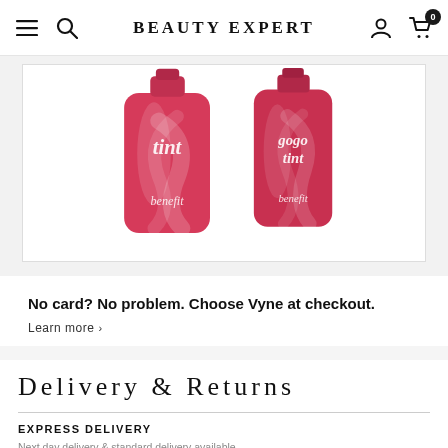BEAUTY EXPERT
[Figure (photo): Two red Benefit cosmetic tint bottles (benetint and gogo tint) displayed on white background]
No card? No problem. Choose Vyne at checkout.
Learn more ›
Delivery & Returns
EXPRESS DELIVERY
Next day delivery & standard delivery available